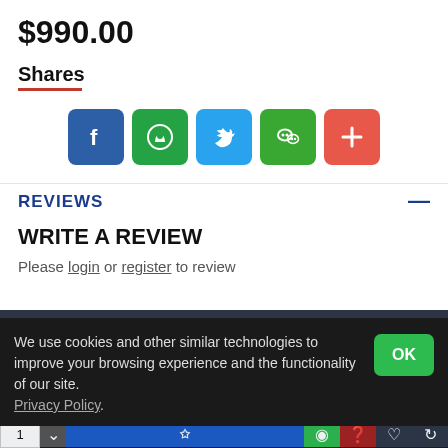$990.00
Shares
[Figure (infographic): Social share buttons: Facebook (blue), WhatsApp (green), Twitter (light blue), WeChat (green), plus/more (orange-red)]
REVIEWS
WRITE A REVIEW
Please login or register to review
We use cookies and other similar technologies to improve your browsing experience and the functionality of our site. Privacy Policy.